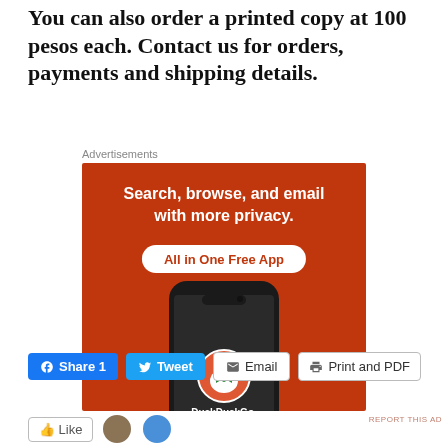You can also order a printed copy at 100 pesos each. Contact us for orders, payments and shipping details.
Advertisements
[Figure (illustration): DuckDuckGo advertisement: orange background with smartphone showing DuckDuckGo duck logo. Text reads 'Search, browse, and email with more privacy. All in One Free App. DuckDuckGo.']
REPORT THIS AD
Share 1  Tweet  Email  Print and PDF
Like